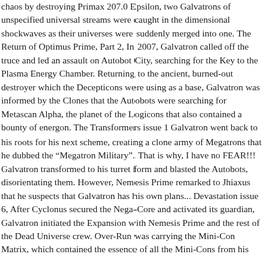chaos by destroying Primax 207.0 Epsilon, two Galvatrons of unspecified universal streams were caught in the dimensional shockwaves as their universes were suddenly merged into one. The Return of Optimus Prime, Part 2, In 2007, Galvatron called off the truce and led an assault on Autobot City, searching for the Key to the Plasma Energy Chamber. Returning to the ancient, burned-out destroyer which the Decepticons were using as a base, Galvatron was informed by the Clones that the Autobots were searching for Metascan Alpha, the planet of the Logicons that also contained a bounty of energon. The Transformers issue 1 Galvatron went back to his roots for his next scheme, creating a clone army of Megatrons that he dubbed the "Megatron Military". That is why, I have no FEAR!!! Galvatron transformed to his turret form and blasted the Autobots, disorientating them. However, Nemesis Prime remarked to Jhiaxus that he suspects that Galvatron has his own plans... Devastation issue 6, After Cyclonus secured the Nega-Core and activated its guardian, Galvatron initiated the Expansion with Nemesis Prime and the rest of the Dead Universe crew. Over-Run was carrying the Mini-Con Matrix, which contained the essence of all the Mini-Cons from his